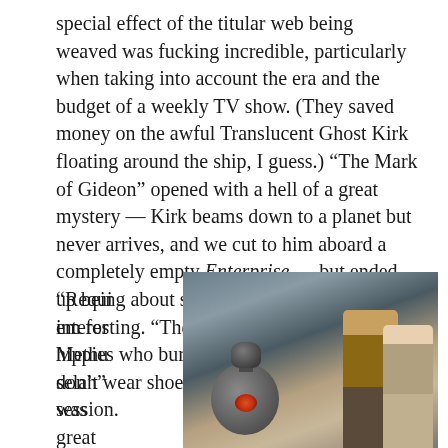special effect of the titular web being weaved was fucking incredible, particularly when taking into account the era and the budget of a weekly TV show. (They saved money on the awful Translucent Ghost Kirk floating around the ship, I guess.) “The Mark of Gideon” opened with a hell of a great mystery — Kirk beams down to a planet but never arrives, and we cut to him aboard a completely empty Enterprise — but ended up being about something far less interesting. “The Way to Eden” is about hippies who burn their feet because they don’t wear shoes and Spock sits in for a jam session.
“Requiem for Methuselah” was great
[Figure (photo): A photo showing a retro sci-fi robot (spherical dark metallic body with a glowing red/orange eye) in the foreground, with two people (a man in a gold/yellow uniform resembling Captain Kirk and a blonde woman in a patterned dress) standing together in the background against a grey space-station corridor.]